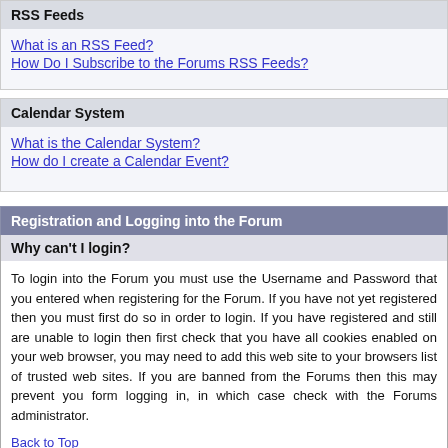RSS Feeds
What is an RSS Feed?
How Do I Subscribe to the Forums RSS Feeds?
Calendar System
What is the Calendar System?
How do I create a Calendar Event?
Registration and Logging into the Forum
Why can't I login?
To login into the Forum you must use the Username and Password that you entered when registering for the Forum. If you have not yet registered then you must first do so in order to login. If you have registered and still are unable to login then first check that you have all cookies enabled on your web browser, you may need to add this web site to your browsers list of trusted web sites. If you are banned from the Forums then this may prevent you form logging in, in which case check with the Forums administrator.
Back to Top
Do I need to register?
You may not need to register to post in the Forums, it is up to the Forums